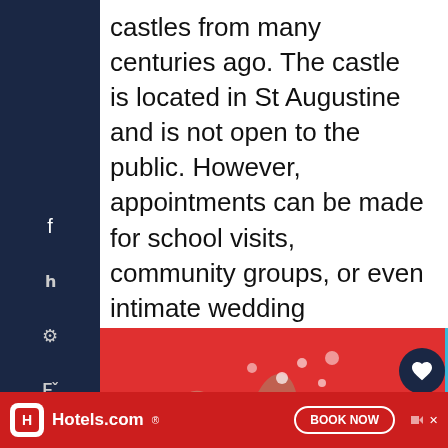castles from many centuries ago. The castle is located in St Augustine and is not open to the public. However, appointments can be made for school visits, community groups, or even intimate wedding ceremonies. If you would like to visit, ensure you make contact hours in advance.
[Figure (infographic): Wash Your Hands advertisement with illustrated hands washing, red and cyan background]
[Figure (screenshot): What's Next panel showing 33 Unique Things to D... with thumbnail image]
[Figure (infographic): Hotels.com advertisement banner with Book Now button at bottom of page]